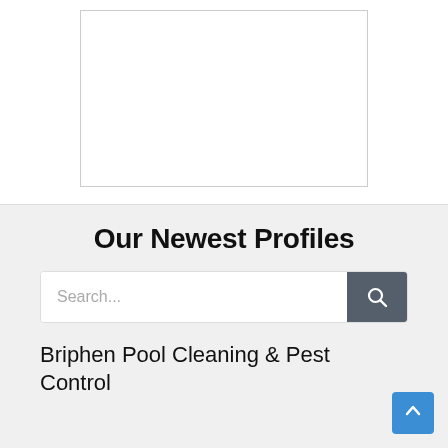[Figure (other): Empty white rectangle with thin border, representing an image placeholder]
Our Newest Profiles
Search...
Briphen Pool Cleaning & Pest Control